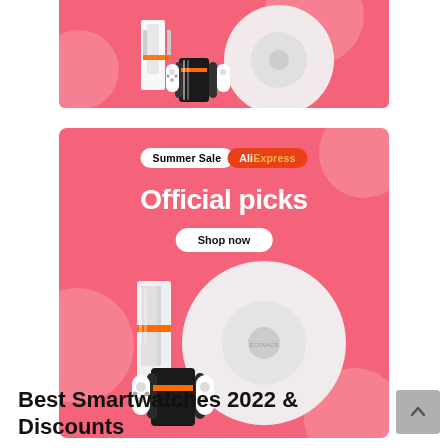[Figure (illustration): Top cropped portion of an AliExpress Summer Sale promotional banner showing a pink/coral background with product images (robot vacuum, Nintendo Switch) partially visible]
[Figure (illustration): AliExpress Summer Sale banner on pink/coral background. Contains 'Summer Sale' badge (white) and 'AliExpress' badge (red with orange text). Large white bold text reads 'Official picks'. A white rounded button reads 'Shop now'. Product images show a robot vacuum cleaner and Nintendo Switch gaming console at the bottom.]
Best Smartwatches 2022 & Discounts